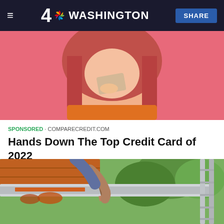4 NBC WASHINGTON | SHARE
[Figure (photo): Woman with red hair on pink background holding a credit card near her face, smiling]
SPONSORED · COMPARECREDIT.COM
Hands Down The Top Credit Card of 2022
[Figure (photo): Person painting a roof gutter with an orange/rust colored paint using a brush, on a ladder near trees in background]